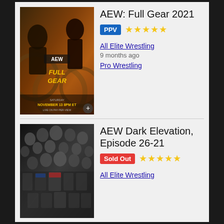[Figure (photo): AEW Full Gear 2021 event poster showing wrestlers with gears background, Saturday November 13 8PM ET Live on Pay-Per-View]
AEW: Full Gear 2021
PPV ★★★★★
All Elite Wrestling
9 months ago
Pro Wrestling
[Figure (photo): AEW Dark Elevation Episode 26-21 poster showing a large group of wrestlers]
AEW Dark Elevation, Episode 26-21
Sold Out ★★★★★
All Elite Wrestling